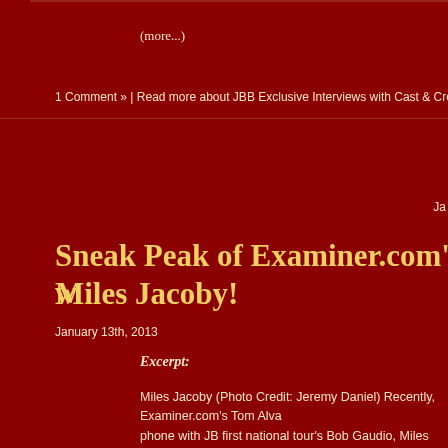(more...)
1 Comment » | Read more about JBB Exclusive Interviews with Cast & Crew, Jersey Bo...
Ja...
Sneak Peak of Examiner.com's Interview with Miles Jacoby!
January 13th, 2013
Excerpt:
Miles Jacoby (Photo Credit: Jeremy Daniel) Recently, Examiner.com's Tom Alva... phone with JB first national tour's Bob Gaudio, Miles Jacoby, who was in Detroit... show was playing prior to its Indianapolis engagement. Here's a preview of this... interview with the young actor. Tell me about your character, Bob Gaudio. How l...
(more...)
Please leave a Comment » | Read more about Jersey Boys First National Tour, Miles Ja...
Ja...
Return of Jersey Boys Is Marvelous in Melbourne!
January 15th, 2013